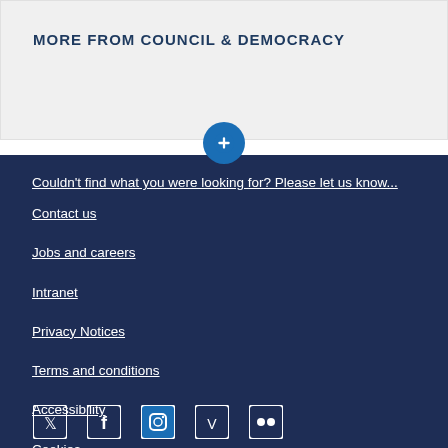MORE FROM COUNCIL & DEMOCRACY
Couldn't find what you were looking for? Please let us know...
Contact us
Jobs and careers
Intranet
Privacy Notices
Terms and conditions
Accessibility
Cookies
Site map